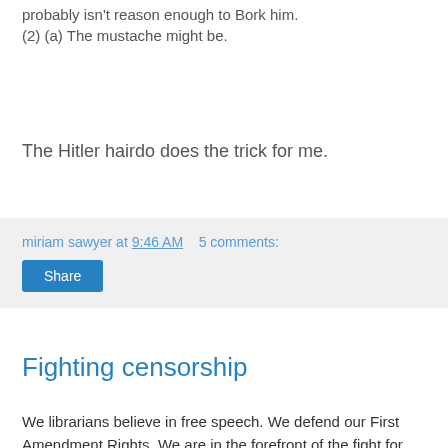probably isn't reason enough to Bork him. (2) (a) The mustache might be.
The Hitler hairdo does the trick for me.
miriam sawyer at 9:46 AM   5 comments:
Share
Fighting censorship
We librarians believe in free speech. We defend our First Amendment Rights. We are in the forefront of the fight for freedom.
Well, in my grubby little life, the issue only came up once. A man stuck his head into my office door, followed by a hand holding a book. "This book is the filthiest thing I have ever read!"